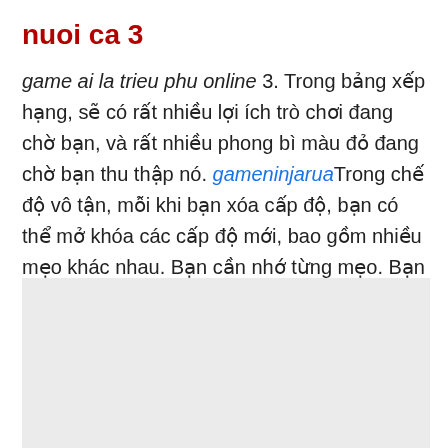nuoi ca 3
game ai la trieu phu online 3. Trong bảng xếp hạng, sẽ có rất nhiều lợi ích trò chơi đang chờ bạn, và rất nhiều phong bì màu đỏ đang chờ bạn thu thập nó. gameninjaruaTrong chế độ vô tận, mỗi khi bạn xóa cấp độ, bạn có thể mở khóa các cấp độ mới, bao gồm nhiều mẹo khác nhau. Bạn cần nhớ từng mẹo. Bạn phải đánh bại nhiều đối thủ hơn trong thời gian quy định.
[Figure (other): Gray placeholder box at the bottom of the page]